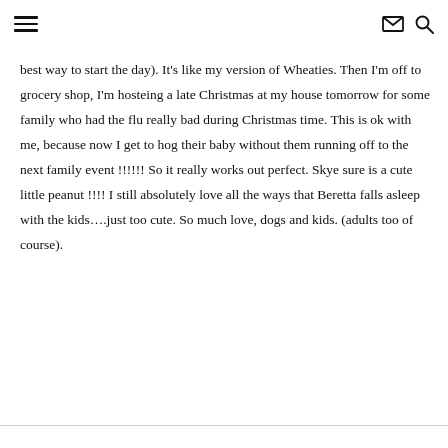≡  ✉  🔍
best way to start the day). It's like my version of Wheaties. Then I'm off to grocery shop, I'm hosteing a late Christmas at my house tomorrow for some family who had the flu really bad during Christmas time. This is ok with me, because now I get to hog their baby without them running off to the next family event !!!!!! So it really works out perfect. Skye sure is a cute little peanut !!!! I still absolutely love all the ways that Beretta falls asleep with the kids….just too cute. So much love, dogs and kids. (adults too of course).